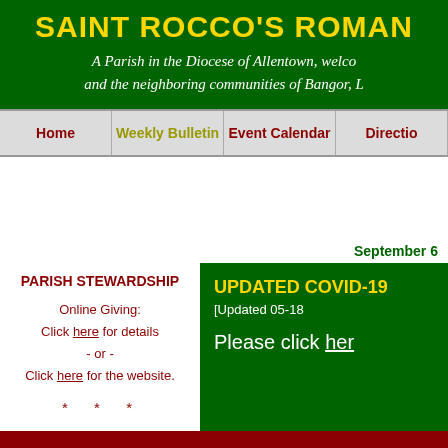SAINT ROCCO'S ROMAN
A Parish in the Diocese of Allentown, welco and the neighboring communities of Bangor, L
Home | Weekly Bulletin | Event Calendar | Directio
September 6
PARISH STEWARDSHIP
Online Giving:
Click here for details
- or -
Click here for the website.

* * *
UPDATED COVID-19
[Updated 05-18
Please click her